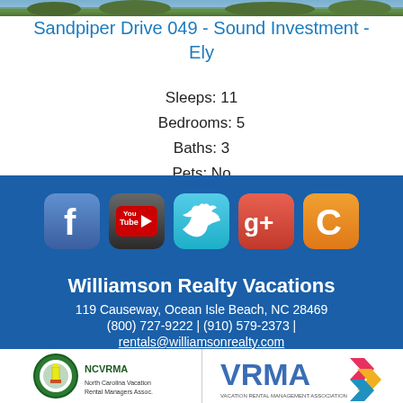[Figure (photo): Outdoor nature/landscape photo strip at top of page]
Sandpiper Drive 049 - Sound Investment - Ely
Sleeps: 11
Bedrooms: 5
Baths: 3
Pets: No
[Figure (infographic): Social media icons: Facebook, YouTube, Twitter, Google+, and one orange icon (C)]
Williamson Realty Vacations
119 Causeway, Ocean Isle Beach, NC 28469
(800) 727-9222 | (910) 579-2373 |
rentals@williamsonrealty.com
[Figure (logo): NCVRMA logo on white background]
[Figure (logo): VRMA Vacation Rental Management Association logo on white background]